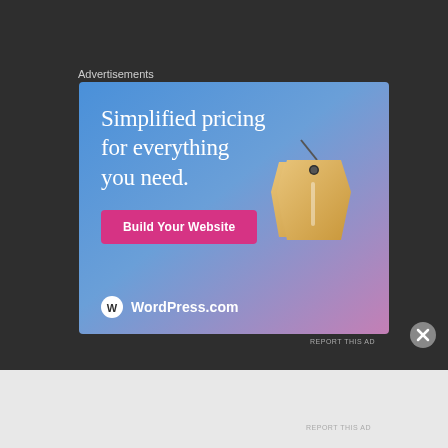Advertisements
[Figure (illustration): WordPress.com advertisement banner with blue-to-pink gradient background, price tag illustration, headline 'Simplified pricing for everything you need.', pink 'Build Your Website' button, and WordPress.com logo]
REPORT THIS AD
REPORT THIS AD